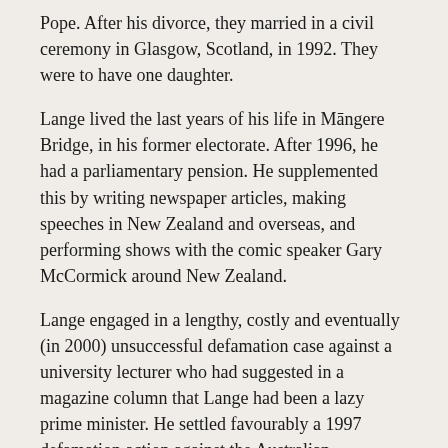Pope. After his divorce, they married in a civil ceremony in Glasgow, Scotland, in 1992. They were to have one daughter.
Lange lived the last years of his life in Māngere Bridge, in his former electorate. After 1996, he had a parliamentary pension. He supplemented this by writing newspaper articles, making speeches in New Zealand and overseas, and performing shows with the comic speaker Gary McCormick around New Zealand.
Lange engaged in a lengthy, costly and eventually (in 2000) unsuccessful defamation case against a university lecturer who had suggested in a magazine column that Lange had been a lazy prime minister. He settled favourably a 1997 defamation action against the Australian Broadcasting Corporation, which had broadcast a programme suggesting that Lange had a corrupt involvement in the sale of public assets.
Lange declined an invitation to become ambassador to